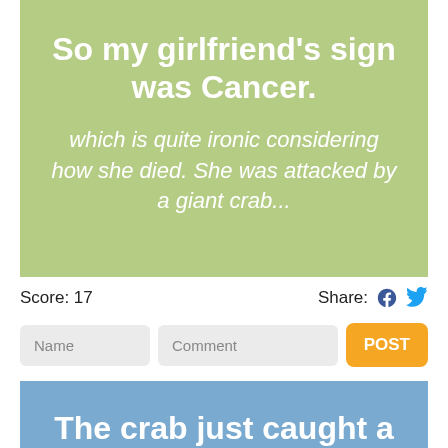So my girlfriend's sign was Cancer.
which is quite ironic considering how she died. She was attacked by a giant crab...
Score: 17
Share:
The crab just caught a